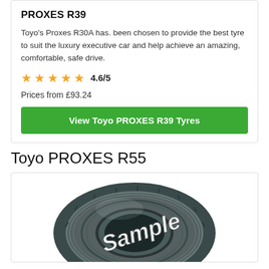PROXES R39
Toyo's Proxes R30A has. been chosen to provide the best tyre to suit the luxury executive car and help achieve an amazing, comfortable, safe drive.
★ ★ ★ ★ ★ 4.6/5
Prices from £93.24
View Toyo PROXES R39 Tyres
Toyo PROXES R55
[Figure (photo): A Toyo PROXES R55 tyre shown at an angle, with a 'Sample' watermark overlaid in white italic text across the tyre.]